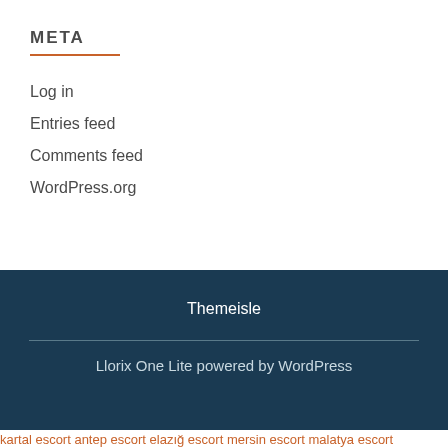META
Log in
Entries feed
Comments feed
WordPress.org
Themeisle
Llorix One Lite powered by WordPress
kartal escort antep escort elazığ escort mersin escort malatya escort